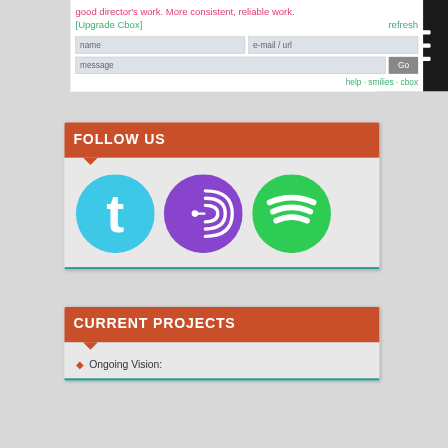good director's work. More consistent, reliable work. [Upgrade Cbox]  refresh
[Figure (screenshot): Cbox chat widget with name, e-mail/url, and message input fields, a Go button, and links for help, smilies, cbox]
[Figure (other): Black hamburger menu icon on dark background]
FOLLOW US
[Figure (illustration): Three social media icons: Twitter (blue circle with lowercase t), a purple RSS/feed icon, and Spotify (green circle with sound waves logo)]
CURRENT PROJECTS
Ongoing Vision: